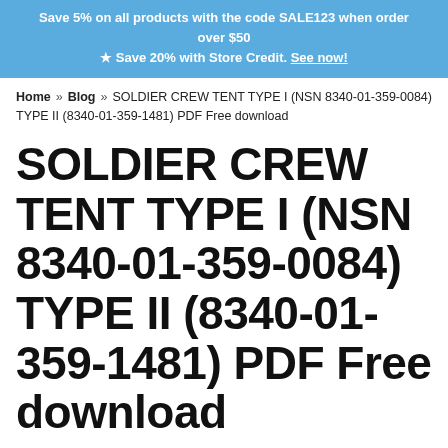Save 5% on all products with the code SALE123 when order over $50
★ Save 20% with Store Credit. See now!
Home » Blog » SOLDIER CREW TENT TYPE I (NSN 8340-01-359-0084) TYPE II (8340-01-359-1481) PDF Free download
SOLDIER CREW TENT TYPE I (NSN 8340-01-359-0084) TYPE II (8340-01-359-1481) PDF Free download
May 11, 2018
SOLDIER CREW TENT TYPE I (NSN 8340-01-359-0084) TYPE II (8340-01-359-1481) PDF Free...